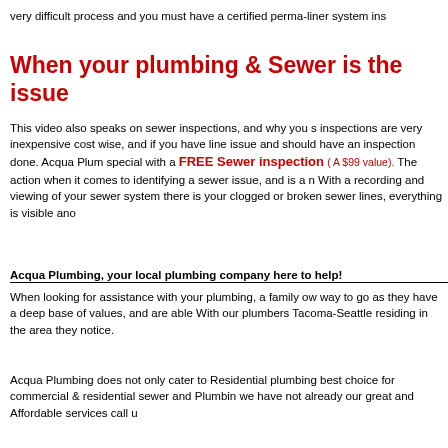very difficult process and you must have a certified perma-liner system ins
When your plumbing & Sewer is the issue
This video also speaks on sewer inspections, and why you s inspections are very inexpensive cost wise, and if you have line issue and should have an inspection done. Acqua Plum special with a FREE Sewer inspection ( A $99 value). The action when it comes to identifying a sewer issue, and is a n With a recording and viewing of your sewer system there is your clogged or broken sewer lines, everything is visible ano
Acqua Plumbing, your local plumbing company here to help!
When looking for assistance with your plumbing, a family ow way to go as they have a deep base of values, and are able With our plumbers Tacoma-Seattle residing in the area they notice.
Acqua Plumbing does not only cater to Residential plumbing best choice for commercial & residential sewer and Plumbin we have not already our great and Affordable services call u